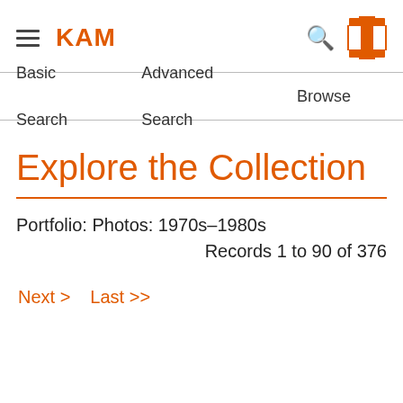KAM
Basic Search   Advanced Search   Browse
Explore the Collection
Portfolio: Photos: 1970s–1980s
Records 1 to 90 of 376
Next >   Last >>